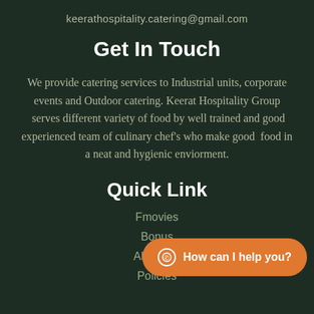keerathospitality.catering@gmail.com
Get In Touch
We provide catering services to Industrial units, corporate events and Outdoor catering. Keerat Hospitality Group  serves different variety of food by well trained and good experienced team of culinary chef’s who make good  food in a neat and hygienic enviorment.
Quick Link
Fmovies
Bonus
About Us
Policies
How can I help you?